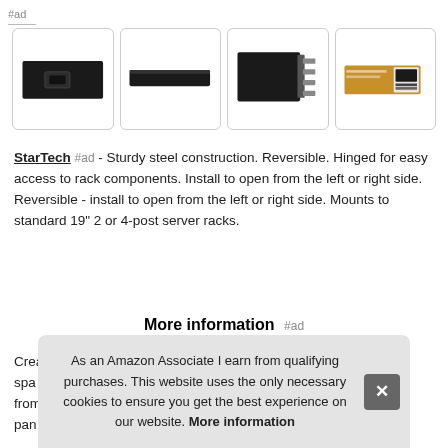#ad
[Figure (photo): Four product images of a StarTech rack panel mount: front view showing black panel with cutout, side profile view, open hinged view showing mounting hardware, and product box packaging.]
StarTech #ad - Sturdy steel construction. Reversible. Hinged for easy access to rack components. Install to open from the left or right side. Reversible - install to open from the left or right side. Mounts to standard 19" 2 or 4-post server racks.
More information #ad
Crea spa from pan
As an Amazon Associate I earn from qualifying purchases. This website uses the only necessary cookies to ensure you get the best experience on our website. More information